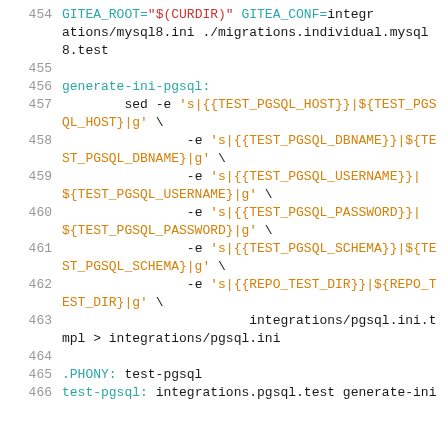[Figure (screenshot): Code listing showing Makefile targets with line numbers 454-466, containing shell commands for generating ini files for PostgreSQL integration testing using sed substitutions.]